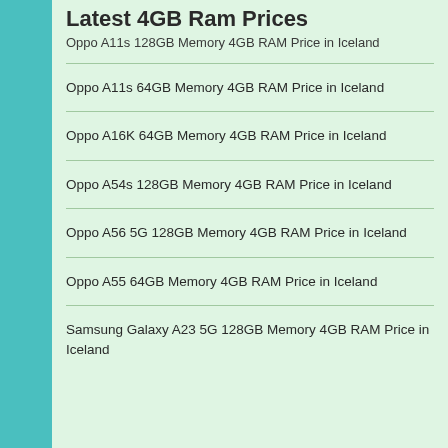Latest 4GB Ram Prices
Oppo A11s 128GB Memory 4GB RAM Price in Iceland
Oppo A11s 64GB Memory 4GB RAM Price in Iceland
Oppo A16K 64GB Memory 4GB RAM Price in Iceland
Oppo A54s 128GB Memory 4GB RAM Price in Iceland
Oppo A56 5G 128GB Memory 4GB RAM Price in Iceland
Oppo A55 64GB Memory 4GB RAM Price in Iceland
Samsung Galaxy A23 5G 128GB Memory 4GB RAM Price in Iceland